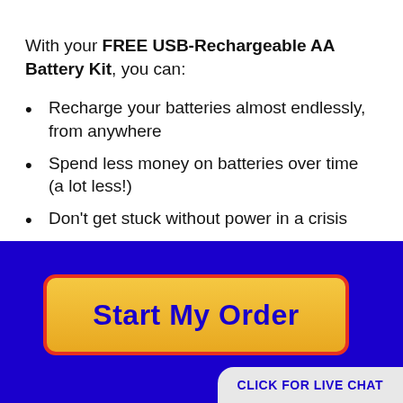With your FREE USB-Rechargeable AA Battery Kit, you can:
Recharge your batteries almost endlessly, from anywhere
Spend less money on batteries over time (a lot less!)
Don't get stuck without power in a crisis
Start My Order
CLICK FOR LIVE CHAT